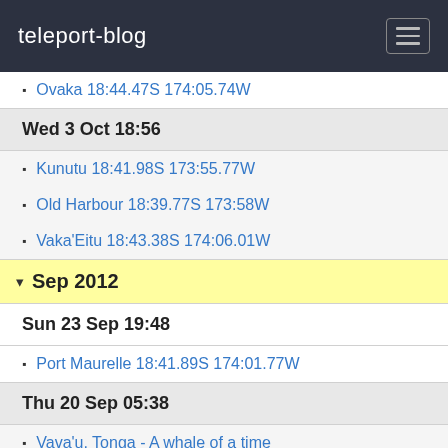teleport-blog
Ovaka 18:44.47S 174:05.74W
Wed 3 Oct 18:56
Kunutu 18:41.98S 173:55.77W
Old Harbour 18:39.77S 173:58W
Vaka'Eitu 18:43.38S 174:06.01W
Sep 2012
Sun 23 Sep 19:48
Port Maurelle 18:41.89S 174:01.77W
Thu 20 Sep 05:38
Vava'u, Tonga - A whale of a time
Mon 17 Sep 18:42
Neiafu 18:39.9S 173:59W
Sun 16 Sep 20:22
Tonga bound 18:02S 173:51W
Sat 15 Sep 18:16